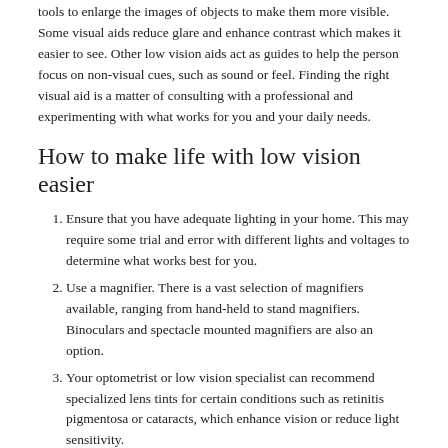tools to enlarge the images of objects to make them more visible. Some visual aids reduce glare and enhance contrast which makes it easier to see. Other low vision aids act as guides to help the person focus on non-visual cues, such as sound or feel. Finding the right visual aid is a matter of consulting with a professional and experimenting with what works for you and your daily needs.
How to make life with low vision easier
Ensure that you have adequate lighting in your home. This may require some trial and error with different lights and voltages to determine what works best for you.
Use a magnifier. There is a vast selection of magnifiers available, ranging from hand-held to stand magnifiers. Binoculars and spectacle mounted magnifiers are also an option.
Your optometrist or low vision specialist can recommend specialized lens tints for certain conditions such as retinitis pigmentosa or cataracts, which enhance vision or reduce light sensitivity.
Use large print books for reading. Alternatively, try digital recordings or mp3's.
Make use of high contrast for writing. Try writing in large letters